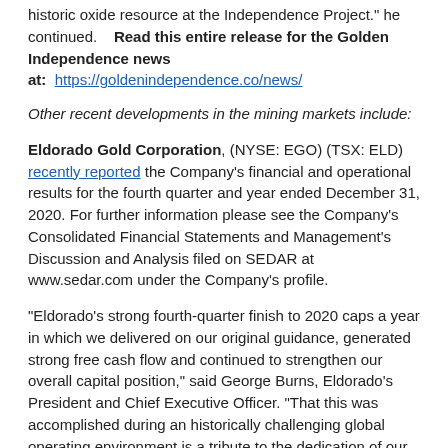historic oxide resource at the Independence Project." he continued.    Read this entire release for the Golden Independence news at:  https://goldenindependence.co/news/
Other recent developments in the mining markets include:
Eldorado Gold Corporation, (NYSE: EGO) (TSX: ELD) recently reported the Company's financial and operational results for the fourth quarter and year ended December 31, 2020. For further information please see the Company's Consolidated Financial Statements and Management's Discussion and Analysis filed on SEDAR at www.sedar.com under the Company's profile.
“Eldorado’s strong fourth-quarter finish to 2020 caps a year in which we delivered on our original guidance, generated strong free cash flow and continued to strengthen our overall capital position,” said George Burns, Eldorado’s President and Chief Executive Officer. “That this was accomplished during an historically challenging global operating environment is a tribute to the dedication of our people.  “We enter 2021 positioned once again to deliver, both operationally and at our most important growth projects. Consistent with Eldorado’s disciplined approach to capital allocation, we will continue to strengthen our balance sheet while reinvesting in mine and project development programs that prioritize profitability and strong returns. Chief